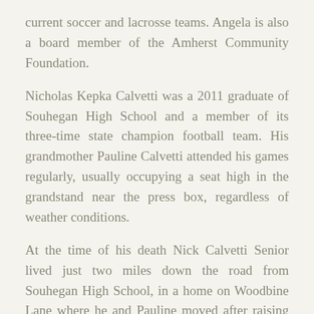current soccer and lacrosse teams. Angela is also a board member of the Amherst Community Foundation.
Nicholas Kepka Calvetti was a 2011 graduate of Souhegan High School and a member of its three-time state champion football team. His grandmother Pauline Calvetti attended his games regularly, usually occupying a seat high in the grandstand near the press box, regardless of weather conditions.
At the time of his death Nick Calvetti Senior lived just two miles down the road from Souhegan High School, in a home on Woodbine Lane where he and Pauline moved after raising their son in Milford. Polly (LaMarche) grew up in Wilton while her future husband grew up in Milford. They met during the time Nick was a talented area baseball player, recruited by baseball